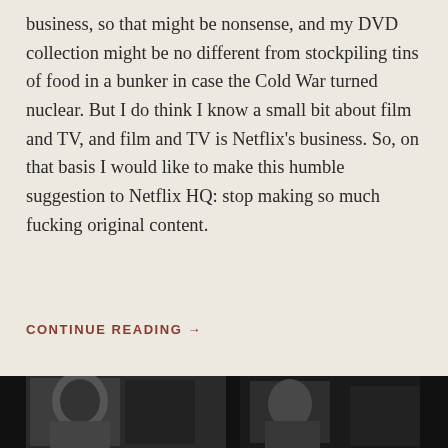business, so that might be nonsense, and my DVD collection might be no different from stockpiling tins of food in a bunker in case the Cold War turned nuclear. But I do think I know a small bit about film and TV, and film and TV is Netflix's business. So, on that basis I would like to make this humble suggestion to Netflix HQ: stop making so much fucking original content.
CONTINUE READING →
[Figure (photo): Black and white photograph strip at the bottom of the page, partially visible]